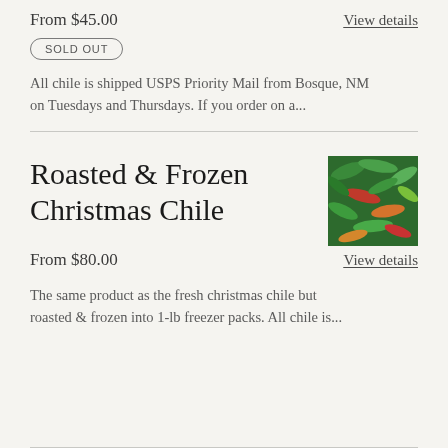From $45.00
View details
SOLD OUT
All chile is shipped USPS Priority Mail from Bosque, NM on Tuesdays and Thursdays. If you order on a...
Roasted & Frozen Christmas Chile
[Figure (photo): Close-up photo of mixed red and green chile peppers]
From $80.00
View details
The same product as the fresh christmas chile but roasted & frozen into 1-lb freezer packs. All chile is...